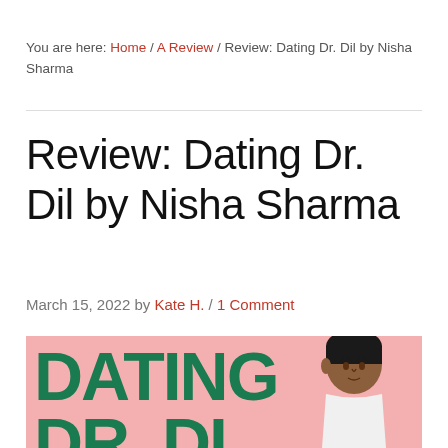You are here: Home / A Review / Review: Dating Dr. Dil by Nisha Sharma
Review: Dating Dr. Dil by Nisha Sharma
March 15, 2022 by Kate H. / 1 Comment
[Figure (illustration): Book cover of 'Dating Dr. Dil' by Nisha Sharma — pink background with large green bold text 'DATING' and 'DR. DI' visible, with an illustrated man with dark hair in the lower right]